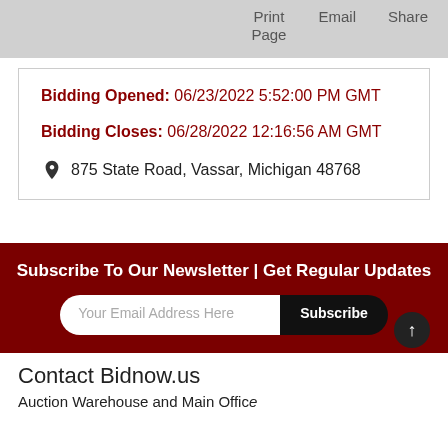Print Page   Email   Share
Bidding Opened: 06/23/2022 5:52:00 PM GMT
Bidding Closes: 06/28/2022 12:16:56 AM GMT
875 State Road, Vassar, Michigan 48768
Subscribe To Our Newsletter | Get Regular Updates
Your Email Address Here
Subscribe
Contact Bidnow.us
Auction Warehouse and Main Office